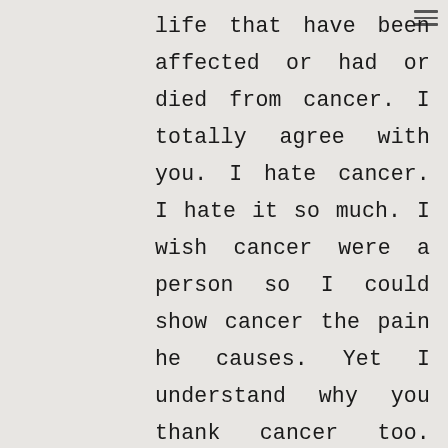life that have been affected or had or died from cancer. I totally agree with you. I hate cancer. I hate it so much. I wish cancer were a person so I could show cancer the pain he causes. Yet I understand why you thank cancer too. I've gone through so many things that I never thought I'd be strong enough to